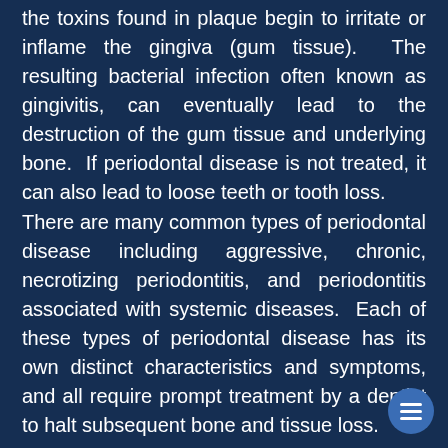the toxins found in plaque begin to irritate or inflame the gingiva (gum tissue). The resulting bacterial infection often known as gingivitis, can eventually lead to the destruction of the gum tissue and underlying bone. If periodontal disease is not treated, it can also lead to loose teeth or tooth loss.
There are many common types of periodontal disease including aggressive, chronic, necrotizing periodontitis, and periodontitis associated with systemic diseases. Each of these types of periodontal disease has its own distinct characteristics and symptoms, and all require prompt treatment by a dentist to halt subsequent bone and tissue loss.